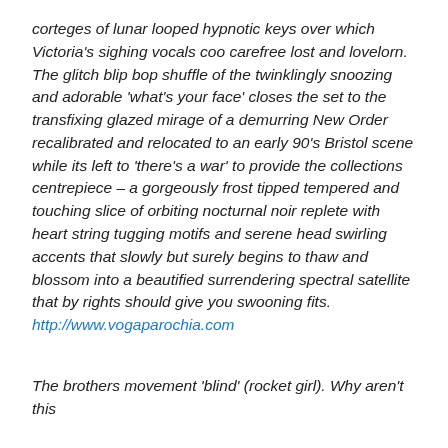corteges of lunar looped hypnotic keys over which Victoria's sighing vocals coo carefree lost and lovelorn. The glitch blip bop shuffle of the twinklingly snoozing and adorable 'what's your face' closes the set to the transfixing glazed mirage of a demurring New Order recalibrated and relocated to an early 90's Bristol scene while its left to 'there's a war' to provide the collections centrepiece – a gorgeously frost tipped tempered and touching slice of orbiting nocturnal noir replete with heart string tugging motifs and serene head swirling accents that slowly but surely begins to thaw and blossom into a beautified surrendering spectral satellite that by rights should give you swooning fits. http://www.vogaparochia.com
The brothers movement 'blind' (rocket girl). Why aren't this